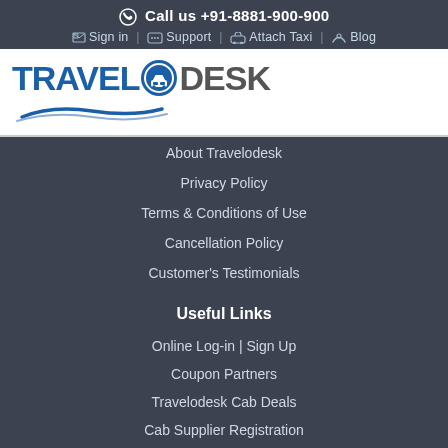Call us +91-8881-900-900
Sign in  Support  Attach Taxi  Blog
[Figure (logo): TravelODesk logo with taxi icon and blue wave swirl underneath]
About Travelodesk
Privacy Policy
Terms & Conditions of Use
Cancellation Policy
Customer's Testimonials
Useful Links
Online Log-in | Sign Up
Coupon Partners
Travelodesk Cab Deals
Cab Supplier Registration
Career with us